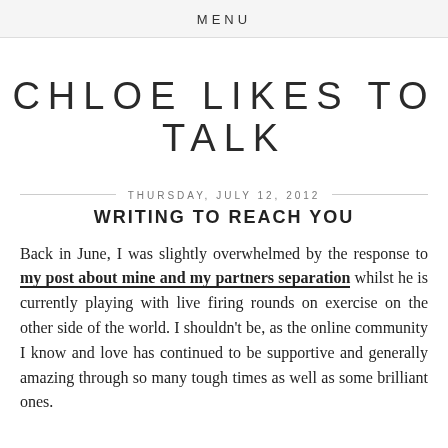MENU
CHLOE LIKES TO TALK
THURSDAY, JULY 12, 2012
WRITING TO REACH YOU
Back in June, I was slightly overwhelmed by the response to my post about mine and my partners separation whilst he is currently playing with live firing rounds on exercise on the other side of the world. I shouldn't be, as the online community I know and love has continued to be supportive and generally amazing through so many tough times as well as some brilliant ones.